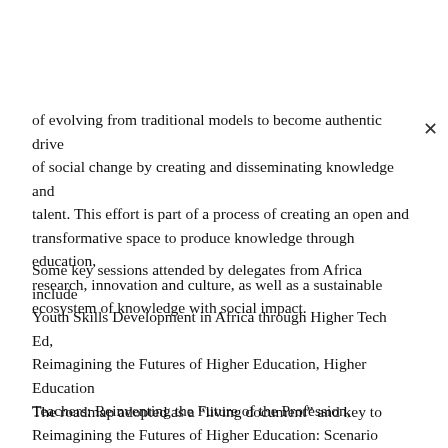of evolving from traditional models to become authentic drivers of social change by creating and disseminating knowledge and talent. This effort is part of a process of creating an open and transformative space to produce knowledge through education, research, innovation and culture, as well as a sustainable ecosystem of knowledge with social impact.
Some key sessions attended by delegates from Africa include Youth Skills Development in Africa through Higher Tech Ed, Reimagining the Futures of Higher Education, Higher Education Teachers: Reinventing the Future of the Profession, Reimagining the Futures of Higher Education: Scenario development workshop (UNESCO Futures of Education), and Implementing the Addis Ababa Convention among other of specific interest to delegates.
The roadmap adopted as a “living document” and key to